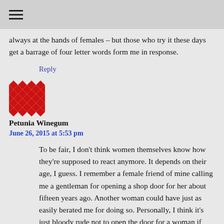always at the hands of females – but those who try it these days get a barrage of four letter words form me in response.
Reply
[Figure (illustration): Red diamond/pixel pattern avatar image for commenter Petunia Winegum]
Petunia Winegum
June 26, 2015 at 5:53 pm
To be fair, I don't think women themselves know how they're supposed to react anymore. It depends on their age, I guess. I remember a female friend of mine calling me a gentleman for opening a shop door for her about fifteen years ago. Another woman could have just as easily berated me for doing so. Personally, I think it's just bloody rude not to open the door for a woman if she's behind you, but her reaction says